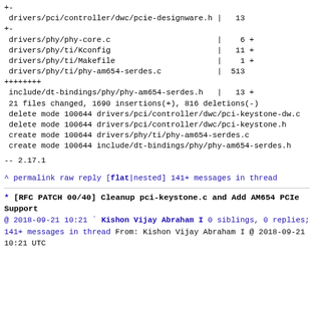+-
 drivers/pci/controller/dwc/pcie-designware.h |   13
+-
 drivers/phy/phy-core.c                       |    6 +
 drivers/phy/ti/Kconfig                       |   11 +
 drivers/phy/ti/Makefile                      |    1 +
 drivers/phy/ti/phy-am654-serdes.c            |  513
++++++++
 include/dt-bindings/phy/phy-am654-serdes.h   |   13 +
 21 files changed, 1690 insertions(+), 816 deletions(-)
 delete mode 100644 drivers/pci/controller/dwc/pci-keystone-dw.c
 delete mode 100644 drivers/pci/controller/dwc/pci-keystone.h
 create mode 100644 drivers/phy/ti/phy-am654-serdes.c
 create mode 100644 include/dt-bindings/phy/phy-am654-serdes.h
--
2.17.1
^ permalink raw reply   [flat|nested] 141+ messages in thread
* [RFC PATCH 00/40] Cleanup pci-keystone.c and Add AM654 PCIe Support
@ 2018-09-21 10:21 ` Kishon Vijay Abraham I
  0 siblings, 0 replies; 141+ messages in thread
From: Kishon Vijay Abraham I @ 2018-09-21 10:21 UTC